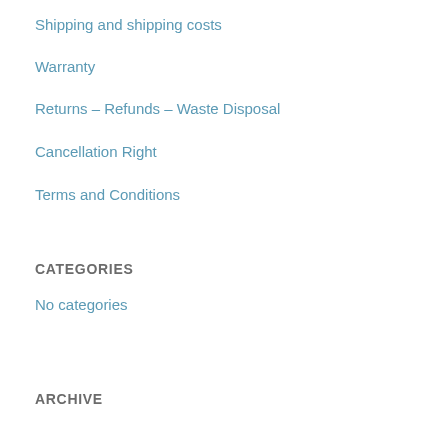Shipping and shipping costs
Warranty
Returns – Refunds – Waste Disposal
Cancellation Right
Terms and Conditions
CATEGORIES
No categories
ARCHIVE